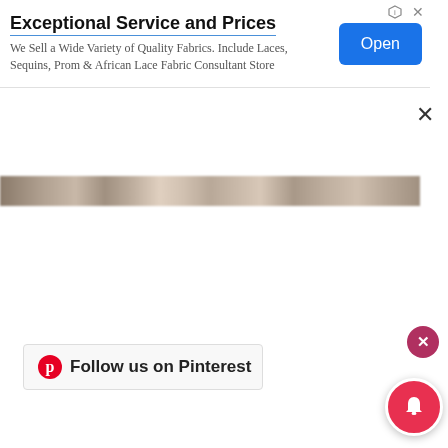[Figure (screenshot): Advertisement banner for a fabric store with title 'Exceptional Service and Prices', description text, and a blue 'Open' button. Above it are small ad icons.]
[Figure (photo): Blurred/cropped image strip showing partial view of people or fabric, appears heavily pixelated.]
[Figure (screenshot): Pinterest 'Follow us on Pinterest' widget bar with Pinterest logo and text, and a notification bell button and close button overlaid.]